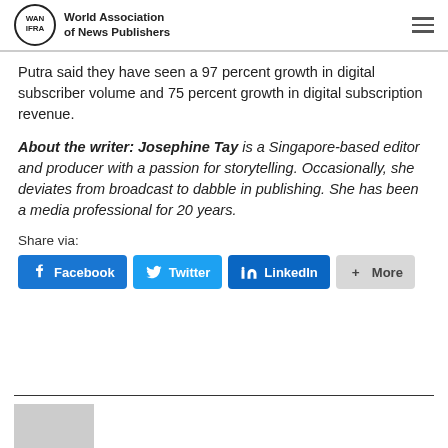World Association of News Publishers
Putra said they have seen a 97 percent growth in digital subscriber volume and 75 percent growth in digital subscription revenue.
About the writer: Josephine Tay is a Singapore-based editor and producer with a passion for storytelling. Occasionally, she deviates from broadcast to dabble in publishing. She has been a media professional for 20 years.
Share via:
[Figure (other): Social share buttons: Facebook, Twitter, LinkedIn, More]